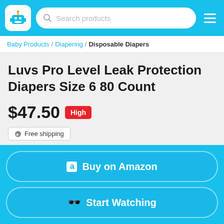Search products
Baby Products / Diapering / Disposable Diapers
Luvs Pro Level Leak Protection Diapers Size 6 80 Count
$47.50 High
Free shipping
Average: $31.76
(1,458 reviews)
Buy on Amazon
Start Watching